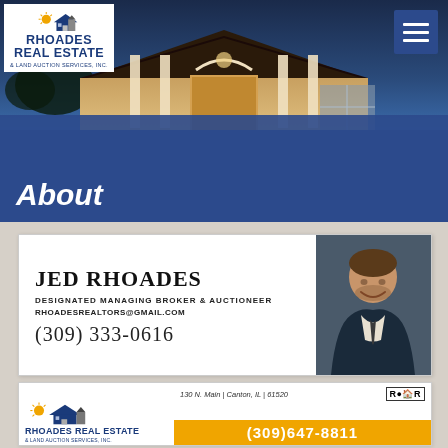[Figure (logo): Rhoades Real Estate logo with sun and house roof icon]
[Figure (photo): Exterior of a house at dusk with illuminated entrance and porch]
About
[Figure (photo): Business card for Jed Rhoades, Designated Managing Broker & Auctioneer, rhoadesrealtors@gmail.com, (309) 333-0616, with portrait photo]
[Figure (logo): Rhoades Real Estate & Land Auction Services, Inc. business card with address 130 N. Main, Canton, IL 61520 and phone (309)647-8811]